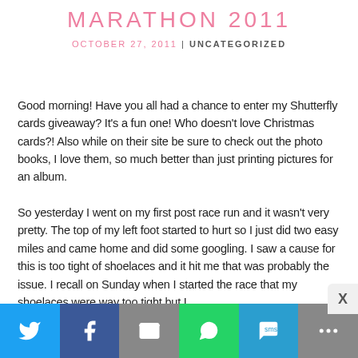MARATHON 2011
OCTOBER 27, 2011 | UNCATEGORIZED
Good morning! Have you all had a chance to enter my Shutterfly cards giveaway? It's a fun one! Who doesn't love Christmas cards?! Also while on their site be sure to check out the photo books, I love them, so much better than just printing pictures for an album.
So yesterday I went on my first post race run and it wasn't very pretty. The top of my left foot started to hurt so I just did two easy miles and came home and did some googling. I saw a cause for this is too tight of shoelaces and it hit me that was probably the issue. I recall on Sunday when I started the race that my shoelaces were way too tight but I
[Figure (infographic): Social share bar with Twitter, Facebook, Email, WhatsApp, SMS, and More buttons]